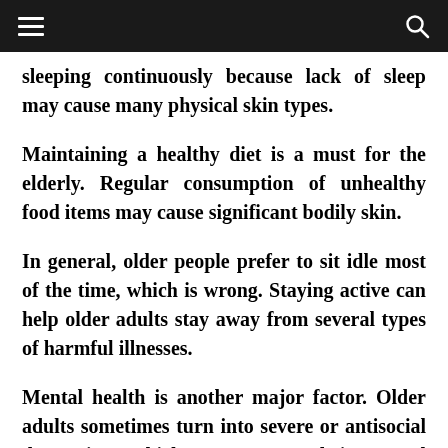≡  🔍
sleeping continuously because lack of sleep may cause many physical skin types.
Maintaining a healthy diet is a must for the elderly. Regular consumption of unhealthy food items may cause significant bodily skin.
In general, older people prefer to sit idle most of the time, which is wrong. Staying active can help older adults stay away from several types of harmful illnesses.
Mental health is another major factor. Older adults sometimes turn into severe or antisocial depression, which can worsen their mental health.